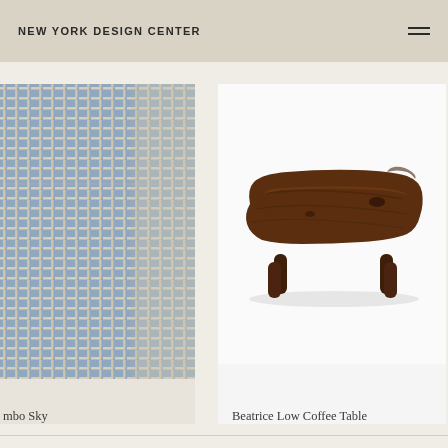NEW YORK DESIGN CENTER
[Figure (photo): Close-up of woven blue and cream fabric/rug texture with grid-like pattern]
mbo Sky
[Figure (photo): Beatrice Low Coffee Table — a dark walnut live-edge slab coffee table with four short cylindrical legs on a white background]
Beatrice Low Coffee Table